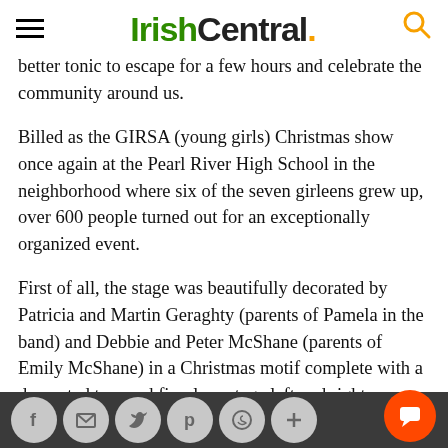IrishCentral.
better tonic to escape for a few hours and celebrate the community around us.
Billed as the GIRSA (young girls) Christmas show once again at the Pearl River High School in the neighborhood where six of the seven girleens grew up, over 600 people turned out for an exceptionally organized event.
First of all, the stage was beautifully decorated by Patricia and Martin Geraghty (parents of Pamela in the band) and Debbie and Peter McShane (parents of Emily McShane) in a Christmas motif complete with a decorated tree and fireplace stage left and right, wrapped presents and Christmas ornaments all adding a festive seasonal flair that instantly put you in the mood.  Local musical Fergal Hayes (from Ardnacushla, East Clare) was an ges the Fear A Ti the night, an accomplished singer in his own right.